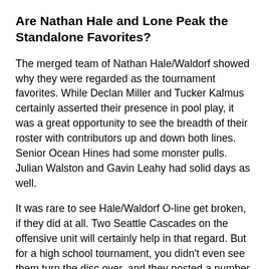Are Nathan Hale and Lone Peak the Standalone Favorites?
The merged team of Nathan Hale/Waldorf showed why they were regarded as the tournament favorites. While Declan Miller and Tucker Kalmus certainly asserted their presence in pool play, it was a great opportunity to see the breadth of their roster with contributors up and down both lines. Senior Ocean Hines had some monster pulls. Julian Walston and Gavin Leahy had solid days as well.
It was rare to see Hale/Waldorf O-line get broken, if they did at all. Two Seattle Cascades on the offensive unit will certainly help in that regard. But for a high school tournament, you didn't even see them turn the disc over, and they posted a number of clean holds.
Their closest threat was their second game of day against the impressive St. Louis Park (MN) – who is